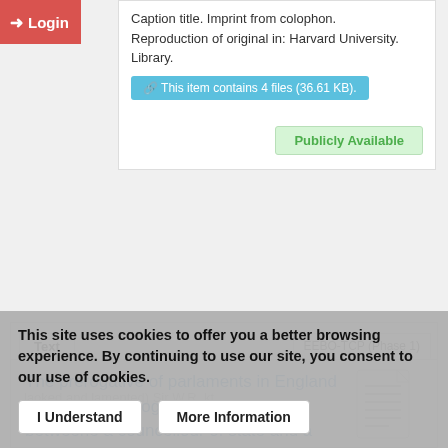Caption title. Imprint from colophon. Reproduction of original in: Harvard University. Library.
This item contains 4 files (36.61 KB).
Publicly Available
Text
EEBO-TCP (Phase 1)
The prerogative of parlaments in England proued in a dialogue (pro & contra) betweene a councellour of state and a iustice of peace / written by the worthy (much laoked and lamented) Sir W.R. kt ...
This site uses cookies to offer you a better browsing experience. By continuing to use our site, you consent to our use of cookies.
I Understand
More Information